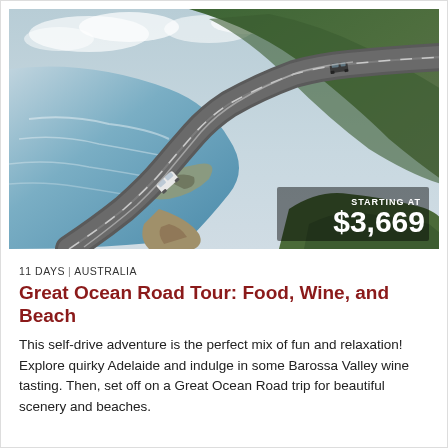[Figure (photo): Aerial view of the Great Ocean Road winding along a coastal cliff with green hillside vegetation on the right, turquoise ocean on the left, and two vehicles visible on the road]
11 DAYS | AUSTRALIA
Great Ocean Road Tour: Food, Wine, and Beach
This self-drive adventure is the perfect mix of fun and relaxation! Explore quirky Adelaide and indulge in some Barossa Valley wine tasting. Then, set off on a Great Ocean Road trip for beautiful scenery and beaches.